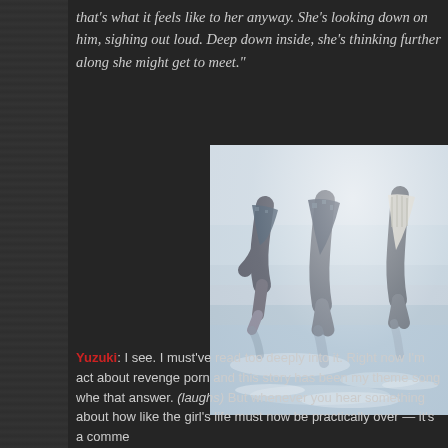that's what it feels like to her anyway. She's looking down on him, sighing out loud. Deep down inside, she's thinking further along she might get to meet."
[Figure (photo): Girls in skirts running or walking on a beach, wet sand, misty/hazy atmosphere, shot from waist down showing legs and reflections on the sand]
Yuzuki: I see. I must've read too deeply into it. Right now I'm act about revenge porn and this story has been my theme song whe that answer. (laughs) But whenever you hear something about how like the girl's life must now be practically over — it's a comme